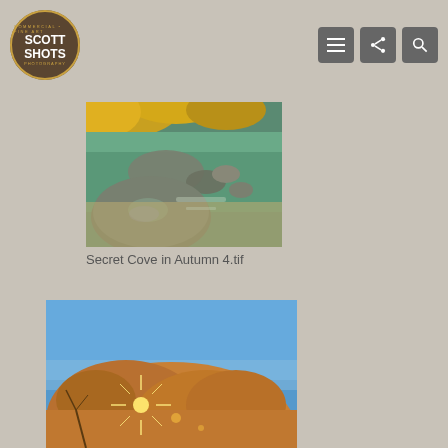Scott Shots Photography - Logo and navigation
[Figure (photo): Close-up of rounded river rocks on sandy beach with clear turquoise water and yellow autumn foliage in background]
Secret Cove in Autumn 4.tif
[Figure (photo): Large golden-brown granite boulder with sun star effect peeking through at base, blue sky background, wide angle shot from low angle]